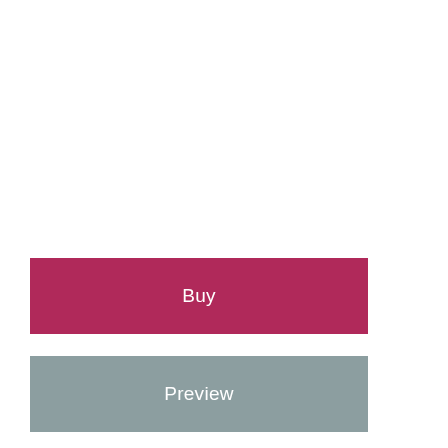Buy
Preview
Amazon $44.99
BetterWorldBooks $52.89